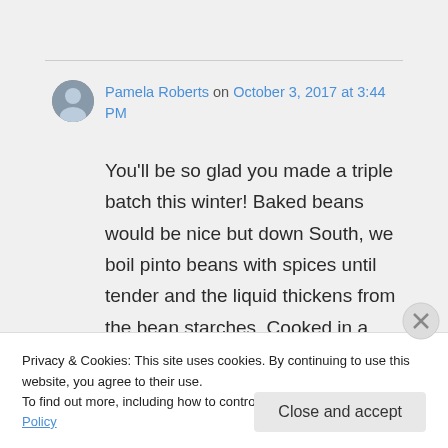Pamela Roberts on October 3, 2017 at 3:44 PM
You'll be so glad you made a triple batch this winter! Baked beans would be nice but down South, we boil pinto beans with spices until tender and the liquid thickens from the bean starches. Cooked in a
Privacy & Cookies: This site uses cookies. By continuing to use this website, you agree to their use.
To find out more, including how to control cookies, see here: Cookie Policy